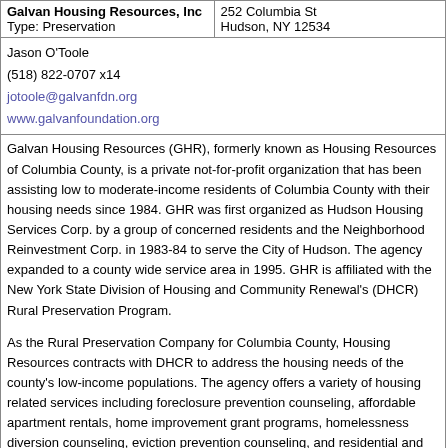| Organization | Address |
| --- | --- |
| Galvan Housing Resources, Inc
Type: Preservation | 252 Columbia St
Hudson, NY 12534 |
Jason O'Toole
(518) 822-0707 x14
jotoole@galvanfdn.org
www.galvanfoundation.org
Galvan Housing Resources (GHR), formerly known as Housing Resources of Columbia County, is a private not-for-profit organization that has been assisting low to moderate-income residents of Columbia County with their housing needs since 1984. GHR was first organized as Hudson Housing Services Corp. by a group of concerned residents and the Neighborhood Reinvestment Corp. in 1983-84 to serve the City of Hudson. The agency expanded to a county wide service area in 1995. GHR is affiliated with the New York State Division of Housing and Community Renewal's (DHCR) Rural Preservation Program.
As the Rural Preservation Company for Columbia County, Housing Resources contracts with DHCR to address the housing needs of the county's low-income populations. The agency offers a variety of housing related services including foreclosure prevention counseling, affordable apartment rentals, home improvement grant programs, homelessness diversion counseling, eviction prevention counseling, and residential and mixed-use commercial real estate development. GHR is committed to improving housing conditions and increasing housing choice throughout